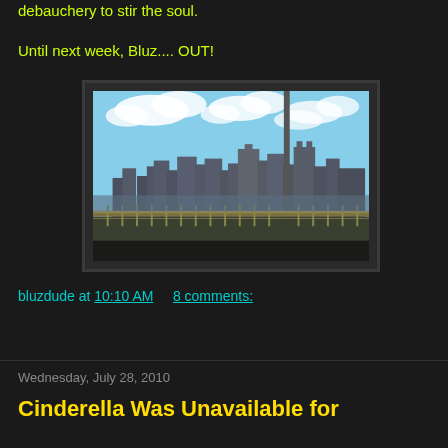debauchery to stir the soul.
Until next week, Bluz.... OUT!
[Figure (photo): City skyline photograph taken from a bridge or elevated road, showing tall buildings against a blue sky with white clouds. A tall vertical pole/structure is visible in the foreground right. The foreground shows a bridge railing/fence area. Appears to be Pittsburgh, PA.]
bluzdude at 10:10 AM      8 comments:
Share
Wednesday, July 28, 2010
Cinderella Was Unavailable for